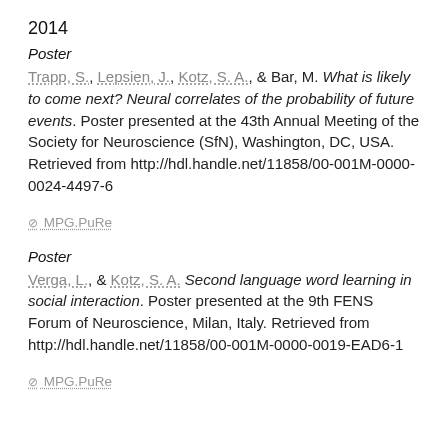2014
Poster
Trapp, S., Lepsien, J., Kotz, S. A., & Bar, M. What is likely to come next? Neural correlates of the probability of future events. Poster presented at the 43th Annual Meeting of the Society for Neuroscience (SfN), Washington, DC, USA. Retrieved from http://hdl.handle.net/11858/00-001M-0000-0024-4497-6
⊘ MPG.PuRe
Poster
Verga, L., & Kotz, S. A. Second language word learning in social interaction. Poster presented at the 9th FENS Forum of Neuroscience, Milan, Italy. Retrieved from http://hdl.handle.net/11858/00-001M-0000-0019-EAD6-1
⊘ MPG.PuRe